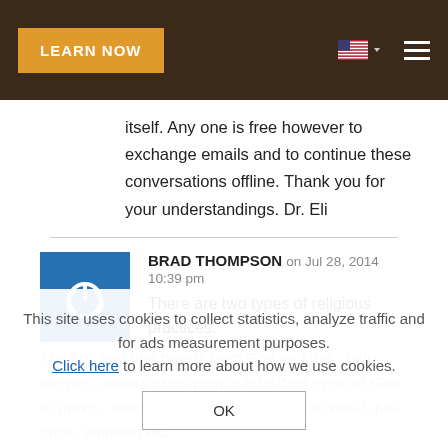LEARN NOW
itself. Any one is free however to exchange emails and to continue these conversations offline. Thank you for your understandings. Dr. Eli
BRAD THOMPSON on Jul 28, 2014 10:39 pm
There are two types of religious practices.
This site uses cookies to collect statistics, analyze traffic and for ads measurement purposes. Click here to learn more about how we use cookies.
OK